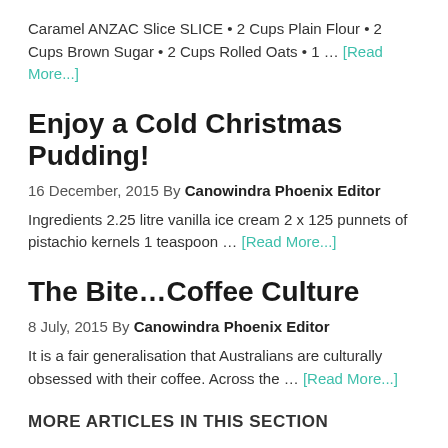Caramel ANZAC Slice SLICE • 2 Cups Plain Flour • 2 Cups Brown Sugar • 2 Cups Rolled Oats • 1 … [Read More...]
Enjoy a Cold Christmas Pudding!
16 December, 2015 By Canowindra Phoenix Editor
Ingredients 2.25 litre vanilla ice cream 2 x 125 punnets of pistachio kernels 1 teaspoon … [Read More...]
The Bite…Coffee Culture
8 July, 2015 By Canowindra Phoenix Editor
It is a fair generalisation that Australians are culturally obsessed with their coffee. Across the … [Read More...]
MORE ARTICLES IN THIS SECTION